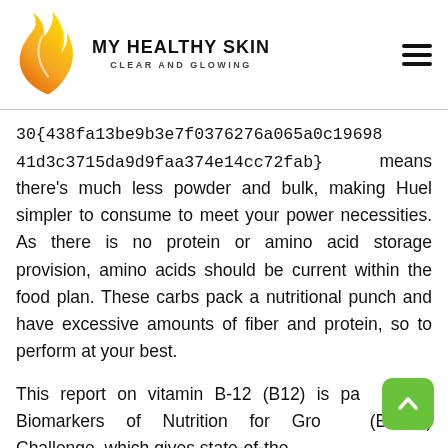MY HEALTHY SKIN CLEAR AND GLOWING
30{438fa13be9b3e7f0376276a065a0c19698 41d3c3715da9d9faa374e14cc72fab}  means there's much less powder and bulk, making Huel simpler to consume to meet your power necessities. As there is no protein or amino acid storage provision, amino acids should be current within the food plan. These carbs pack a nutritional punch and have excessive amounts of fiber and protein, so to perform at your best.
This report on vitamin B-12 (B12) is part of the Biomarkers of Nutrition for Growth (BOND) Challenge, which gives state-of-the